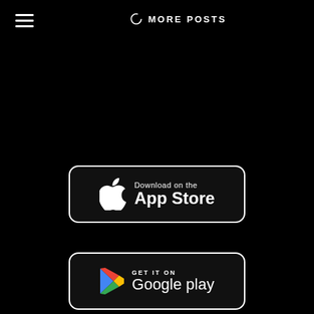MORE POSTS
[Figure (logo): Download on the App Store badge — Apple logo with text 'Download on the App Store']
[Figure (logo): Get it on Google Play badge — Play Store triangle logo with text 'GET IT ON Google play']